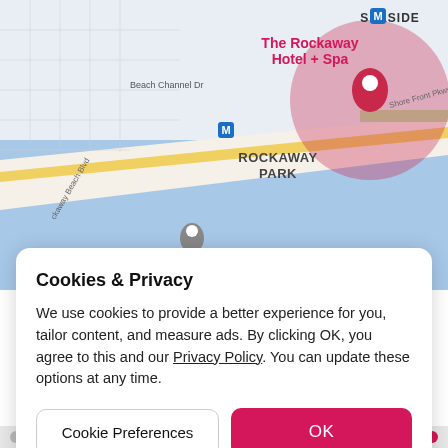[Figure (screenshot): Google Maps screenshot showing Rockaway Park area in New York. Shows 'The Rockaway Hotel + Spa' label in pink/red text with a location pin overlay showing a large red circle. Shows streets including Beach Channel Dr, Rockaway Beach Blvd, Shore Front Pkwy. Shows metro stations (M), ROCKAWAY PARK label, and a business 'Finnegan & Flaugherty - Temporarily closed'. SEASIDE label visible top right. Blue water area visible.]
Cookies & Privacy
We use cookies to provide a better experience for you, tailor content, and measure ads. By clicking OK, you agree to this and our Privacy Policy. You can update these options at any time.